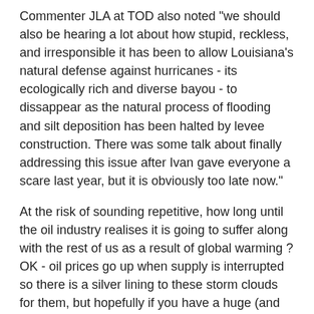Commenter JLA at TOD also noted "we should also be hearing a lot about how stupid, reckless, and irresponsible it has been to allow Louisiana's natural defense against hurricanes - its ecologically rich and diverse bayou - to dissappear as the natural process of flooding and silt deposition has been halted by levee construction. There was some talk about finally addressing this issue after Ivan gave everyone a scare last year, but it is obviously too late now."
At the risk of sounding repetitive, how long until the oil industry realises it is going to suffer along with the rest of us as a result of global warming ? OK - oil prices go up when supply is interrupted so there is a silver lining to these storm clouds for them, but hopefully if you have a huge (and increasing) investment in offshore production that is constantly getting shut down or damaged then oil company executives (along with malevolent morons like John Bolton) may eventually start to think that mitigating global warming could be a good thing rather than something to be constantly sabotaged.
Moving onto other matters related to global warming, the